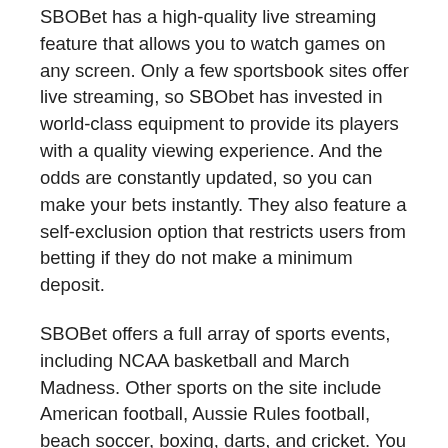SBOBet has a high-quality live streaming feature that allows you to watch games on any screen. Only a few sportsbook sites offer live streaming, so SBObet has invested in world-class equipment to provide its players with a quality viewing experience. And the odds are constantly updated, so you can make your bets instantly. They also feature a self-exclusion option that restricts users from betting if they do not make a minimum deposit.
SBOBet offers a full array of sports events, including NCAA basketball and March Madness. Other sports on the site include American football, Aussie Rules football, beach soccer, boxing, darts, and cricket. You can even find handicap odds for many of these events. While some sportsbooks don't offer these, they are still a worthwhile choice for many.